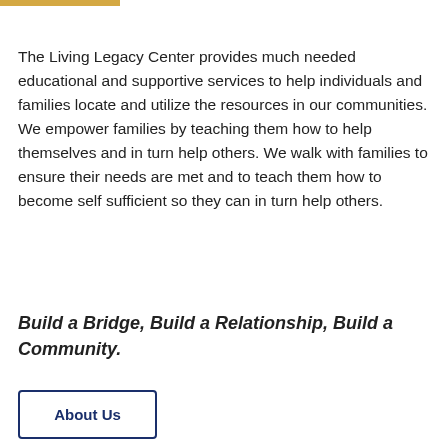The Living Legacy Center provides much needed educational and supportive services to help individuals and families locate and utilize the resources in our communities. We empower families by teaching them how to help themselves and in turn help others. We walk with families to ensure their needs are met and to teach them how to become self sufficient so they can in turn help others.
Build a Bridge, Build a Relationship, Build a Community.
About Us